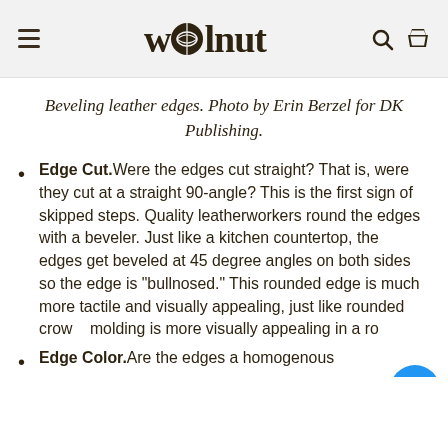wolnut
Beveling leather edges. Photo by Erin Berzel for DK Publishing.
Edge Cut. Were the edges cut straight? That is, were they cut at a straight 90-angle? This is the first sign of skipped steps. Quality leatherworkers round the edges with a beveler. Just like a kitchen countertop, the edges get beveled at 45 degree angles on both sides so the edge is “bullnosed.” This rounded edge is much more tactile and visually appealing, just like rounded crow molding is more visually appealing in a ro…
Edge Color. Are the edges a homogenous…